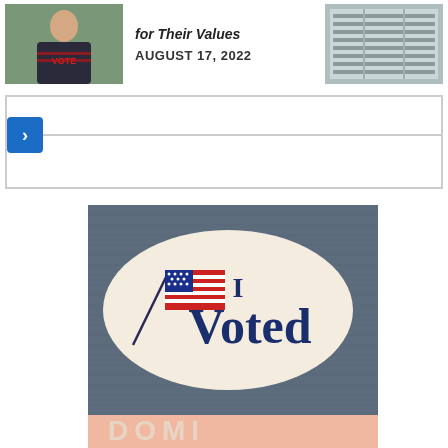[Figure (photo): Person wearing a VOTE t-shirt, thumbnail image on left side]
for Their Values
AUGUST 17, 2022
[Figure (photo): Aerial view of what appears to be an auditorium or assembly hall, thumbnail on right side]
[Figure (other): Navigation element with blue chevron/arrow button and horizontal line]
[Figure (photo): Close-up photo of an I Voted sticker with American flag on a grey fabric background]